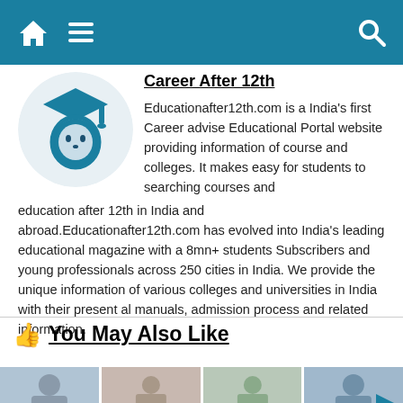Navigation bar with home, menu, and search icons
Career After 12th
Educationafter12th.com is a India's first Career advise Educational Portal website providing information of course and colleges. It makes easy for students to searching courses and education after 12th in India and abroad.Educationafter12th.com has evolved into India's leading educational magazine with a 8mn+ students Subscribers and young professionals across 250 cities in India. We provide the unique information of various colleges and universities in India with their present al manuals, admission process and related information.
You May Also Like
[Figure (photo): Four thumbnail images showing students and professionals]